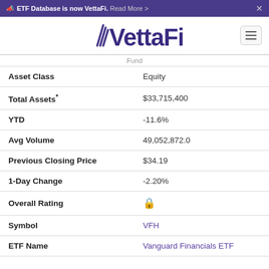ETF Database is now VettaFi. Read More >
[Figure (logo): VettaFi logo in purple with stylized W mark]
| Field | Value |
| --- | --- |
| Asset Class | Equity |
| Total Assets* | $33,715,400 |
| YTD | -11.6% |
| Avg Volume | 49,052,872.0 |
| Previous Closing Price | $34.19 |
| 1-Day Change | -2.20% |
| Overall Rating | 🔒 |
| Symbol | VFH |
| ETF Name | Vanguard Financials ETF |